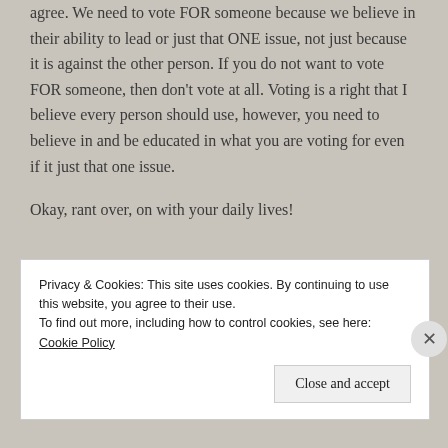agree. We need to vote FOR someone because we believe in their ability to lead or just that ONE issue, not just because it is against the other person. If you do not want to vote FOR someone, then don't vote at all. Voting is a right that I believe every person should use, however, you need to believe in and be educated in what you are voting for even if it just that one issue.
Okay, rant over, on with your daily lives!
Privacy & Cookies: This site uses cookies. By continuing to use this website, you agree to their use.
To find out more, including how to control cookies, see here: Cookie Policy